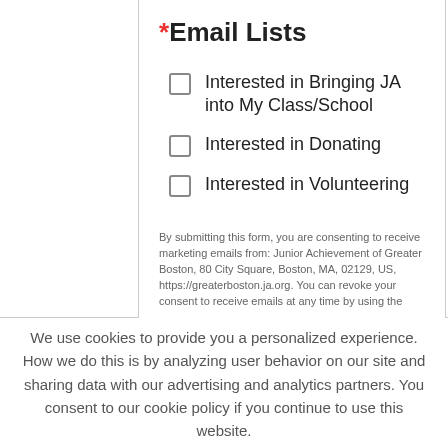*Email Lists
Interested in Bringing JA into My Class/School
Interested in Donating
Interested in Volunteering
By submitting this form, you are consenting to receive marketing emails from: Junior Achievement of Greater Boston, 80 City Square, Boston, MA, 02129, US, https://greaterboston.ja.org. You can revoke your consent to receive emails at any time by using the
We use cookies to provide you a personalized experience. How we do this is by analyzing user behavior on our site and sharing data with our advertising and analytics partners. You consent to our cookie policy if you continue to use this website.
I UNDERSTAND